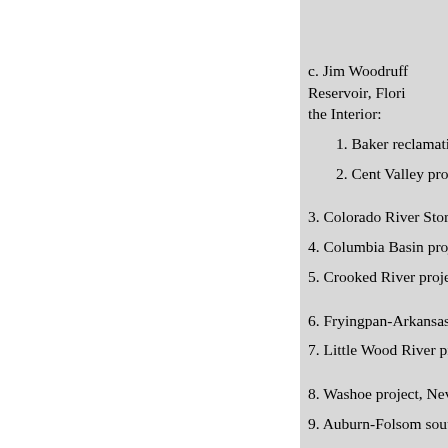c. Jim Woodruff Reservoir, Florida — the Interior:
1. Baker reclamation project, O
2. Cent Valley project, Califor
3. Colorado River Storage Projec
4. Columbia Basin project-
5. Crooked River project, Oregon
6. Fryingpan-Arkansas project, C
7. Little Wood River project, Ida
8. Washoe project, Nevada-Calif
9. Auburn-Folsom south unit, Ce
10. Southern Nevada project, Ne
11. Orov
12. Tualatin project, Oregon..
13. Aubu